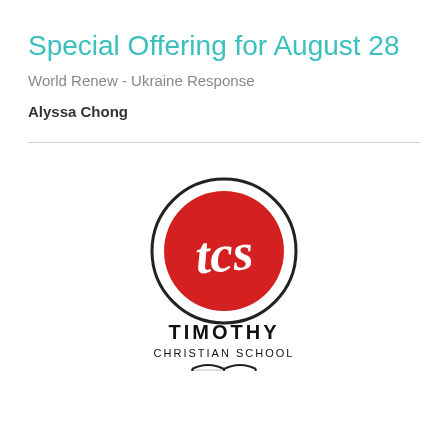Special Offering for August 28
World Renew - Ukraine Response
Alyssa Chong
[Figure (logo): Timothy Christian School logo: a red circle with white cursive 'tcs' letters inside, enclosed in a dark circular border, with 'TIMOTHY CHRISTIAN SCHOOL' text below and an open book icon at the bottom]